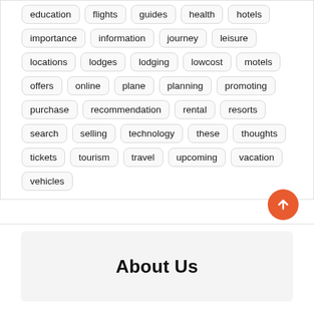education
flights
guides
health
hotels
importance
information
journey
leisure
locations
lodges
lodging
lowcost
motels
offers
online
plane
planning
promoting
purchase
recommendation
rental
resorts
search
selling
technology
these
thoughts
tickets
tourism
travel
upcoming
vacation
vehicles
About Us